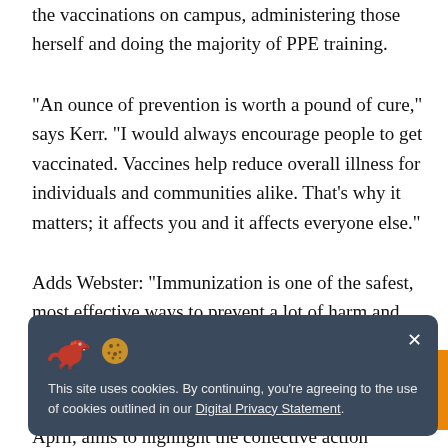the vaccinations on campus, administering those herself and doing the majority of PPE training.
“An ounce of prevention is worth a pound of cure,” says Kerr. “I would always encourage people to get vaccinated. Vaccines help reduce overall illness for individuals and communities alike. That’s why it matters; it affects you and it affects everyone else.”
Adds Webster: “Immunization is one of the safest, most effective ways to prevent a lot of harm and illness for people.”
[Figure (other): Cookie consent banner with dinosaur and cookie emoji icons. Text: 'This site uses cookies. By continuing, you’re agreeing to the use of cookies outlined in our Digital Privacy Statement.']
April, aims to highlight the collective action needed and to